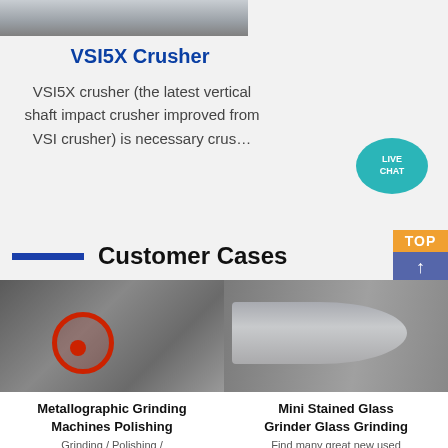[Figure (photo): Partial top view of industrial machinery (crusher equipment) in a factory]
VSI5X Crusher
VSI5X crusher (the latest vertical shaft impact crusher improved from VSI crusher) is necessary crus…
[Figure (infographic): Live Chat button — teal speech bubble with 'LIVE CHAT' text and dark purple overlapping circle]
Customer Cases
[Figure (photo): Metallographic grinding machine with red circular flywheel in industrial factory setting]
Metallographic Grinding Machines Polishing
Grinding / Polishing /
[Figure (photo): Large horizontal cylindrical ball mill grinder in factory]
Mini Stained Glass Grinder Glass Grinding
Find many great new used